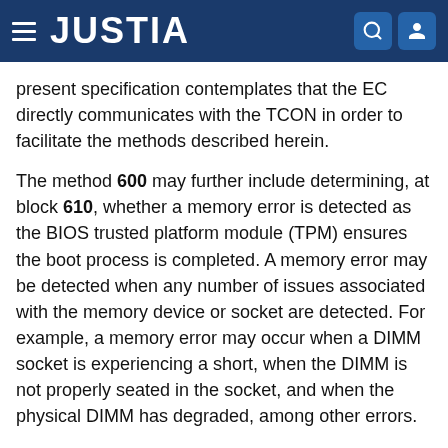JUSTIA
present specification contemplates that the EC directly communicates with the TCON in order to facilitate the methods described herein.
The method 600 may further include determining, at block 610, whether a memory error is detected as the BIOS trusted platform module (TPM) ensures the boot process is completed. A memory error may be detected when any number of issues associated with the memory device or socket are detected. For example, a memory error may occur when a DIMM socket is experiencing a short, when the DIMM is not properly seated in the socket, and when the physical DIMM has degraded, among other errors.
Where no memory error was detected at block 610, the method 600 may continue with reporting that no